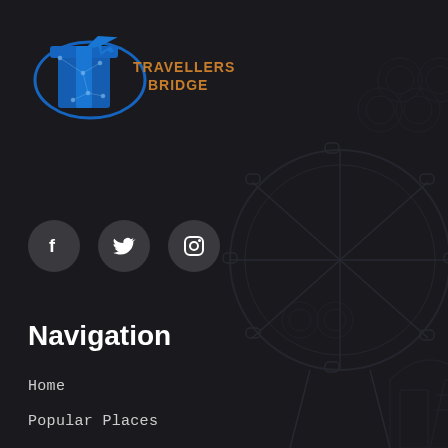[Figure (logo): Travellers Bridge logo with a blue stylized 'T' letter, airplane icon, and orange text reading 'Travellers Bridge']
[Figure (infographic): Three circular social media icon buttons (Facebook, Twitter, Instagram) on dark grey circles]
Navigation
Home
Popular Places
Features
Contact Us